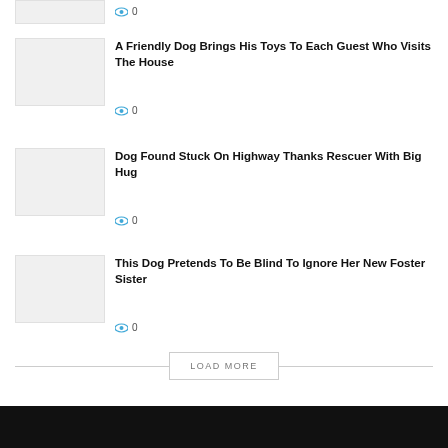[Figure (other): Thumbnail image placeholder (top, partially clipped)]
0
[Figure (photo): Thumbnail image for article about friendly dog]
A Friendly Dog Brings His Toys To Each Guest Who Visits The House
0
[Figure (photo): Thumbnail image for article about dog on highway]
Dog Found Stuck On Highway Thanks Rescuer With Big Hug
0
[Figure (photo): Thumbnail image for article about dog pretending to be blind]
This Dog Pretends To Be Blind To Ignore Her New Foster Sister
0
LOAD MORE